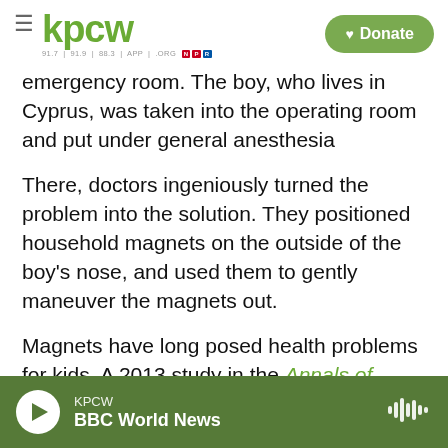KPCW | Donate
emergency room. The boy, who lives in Cyprus, was taken into the operating room and put under general anesthesia
There, doctors ingeniously turned the problem into the solution. They positioned household magnets on the outside of the boy's nose, and used them to gently maneuver the magnets out.
Magnets have long posed health problems for kids. A 2013 study in the Annals of Emergency Medicine found that between 2002 and 2011, there were over 22,500 magnet-related injuries in those under 21. Most were from swallowing them, but 21
KPCW | BBC World News